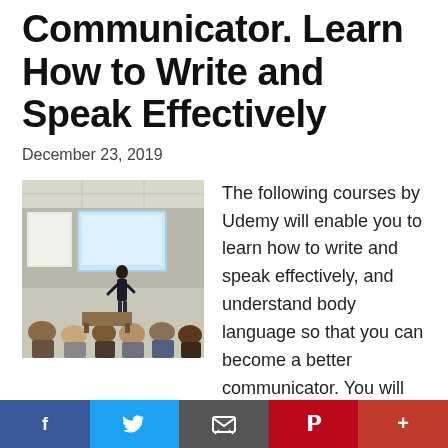Communicator. Learn How to Write and Speak Effectively
December 23, 2019
[Figure (photo): A person presenting at a whiteboard/projector screen in a classroom setting, with an audience seated in front.]
The following courses by Udemy will enable you to learn how to write and speak effectively, and understand body language so that you can become a better communicator. You will learn innovative written and verbal communication techniques to reach your audience tactfully, become a grammar and punctuation